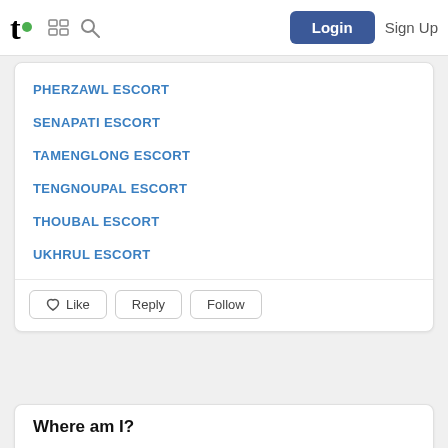t. [grid icon] [search icon] Login Sign Up
PHERZAWL ESCORT
SENAPATI ESCORT
TAMENGLONG ESCORT
TENGNOUPAL ESCORT
THOUBAL ESCORT
UKHRUL ESCORT
Like  Reply  Follow
Where am I?